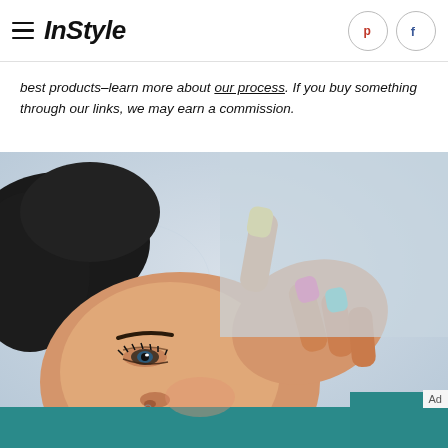InStyle
best products-learn more about our process. If you buy something through our links, we may earn a commission.
[Figure (photo): Close-up photo of a woman lying down with colorful painted nails (yellow, pink, teal) near her face, against a light blue background. She is wearing a teal top and has dark hair.]